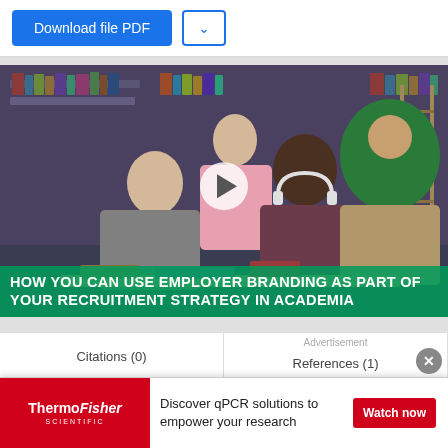[Figure (screenshot): Download file PDF button (blue) and a dropdown arrow button (white with blue border)]
[Figure (photo): Video thumbnail showing diverse students studying in a library, with a play button overlay. Title overlay reads: HOW YOU CAN USE EMPLOYER BRANDING AS PART OF YOUR RECRUITMENT STRATEGY IN ACADEMIA]
Citations (0)
Advertisement
References (1)
[Figure (screenshot): ThermoFisher Scientific advertisement banner: 'Discover qPCR solutions to empower your research' with a Watch now button]